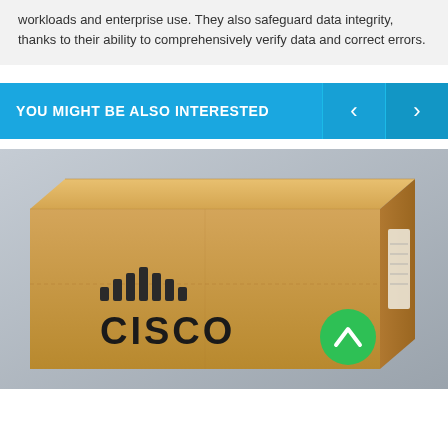workloads and enterprise use. They also safeguard data integrity, thanks to their ability to comprehensively verify data and correct errors.
YOU MIGHT BE ALSO INTERESTED
[Figure (photo): A brown cardboard Cisco-branded shipping box on a light gray background, with the Cisco logo and signal-bars icon printed on the front. A green scroll-to-top button with an upward chevron is overlaid in the lower-right area of the image.]